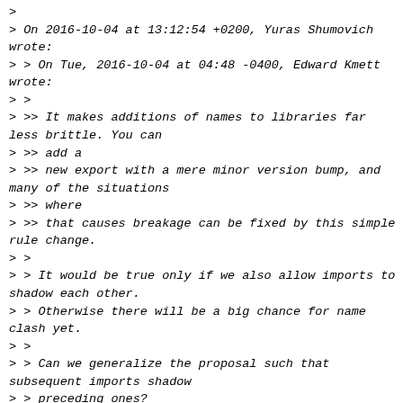> 
> On 2016-10-04 at 13:12:54 +0200, Yuras Shumovich wrote:
> > On Tue, 2016-10-04 at 04:48 -0400, Edward Kmett wrote:
> >
> >> It makes additions of names to libraries far less brittle. You can
> >> add a
> >> new export with a mere minor version bump, and many of the situations
> >> where
> >> that causes breakage can be fixed by this simple rule change.
> >
> > It would be true only if we also allow imports to shadow each other.
> > Otherwise there will be a big chance for name clash yet.
> >
> > Can we generalize the proposal such that subsequent imports shadow
> > preceding ones?
>
> IMO, that would be lead to fragile situations with hard to detect/debug
> problems unless you take warnings serious.
>
> With the original proposal, the semantics of your code doesn't change if
> a library starts exporting a name it didn't before.